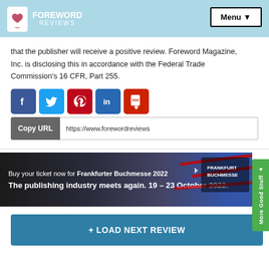FOREWORD REVIEWS | Menu
that the publisher will receive a positive review. Foreword Magazine, Inc. is disclosing this in accordance with the Federal Trade Commission's 16 CFR, Part 255.
[Figure (infographic): Social share buttons: Facebook (blue), Twitter (light blue), Pinterest (red), LinkedIn (blue), PDF (red). Below is a Copy URL bar with https://www.forewordreviews]
[Figure (infographic): Frankfurter Buchmesse 2022 advertisement banner: 'Buy your ticket now for Frankfurter Buchmesse 2022. The publishing industry meets again. 19 – 23 October 2022.']
+ LOAD NEXT REVIEW